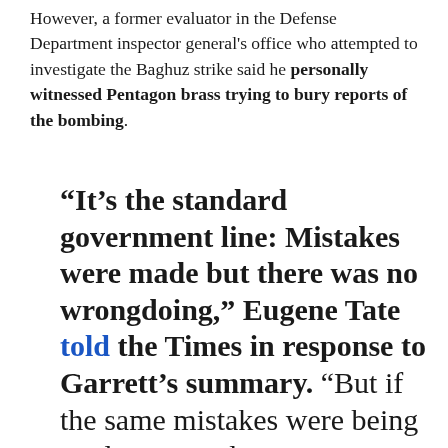However, a former evaluator in the Defense Department inspector general's office who attempted to investigate the Baghuz strike said he personally witnessed Pentagon brass trying to bury reports of the bombing.
“It’s the standard government line: Mistakes were made but there was no wrongdoing,” Eugene Tate told the Times in response to Garrett’s summary. “But if the same mistakes were being made over and